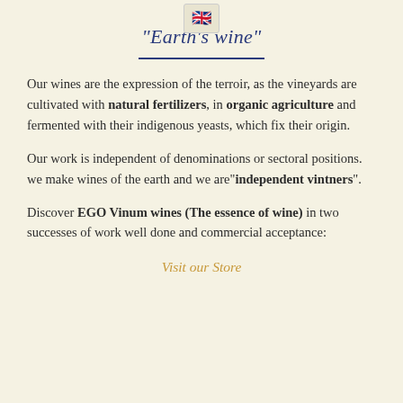[Figure (other): UK flag emoji in a small box, positioned at top center]
“Earth's wine”
Our wines are the expression of the terroir, as the vineyards are cultivated with natural fertilizers, in organic agriculture and fermented with their indigenous yeasts, which fix their origin.
Our work is independent of denominations or sectoral positions. we make wines of the earth and we are“independent vintners”.
Discover EGO Vinum wines (The essence of wine) in two successes of work well done and commercial acceptance:
Visit our Store